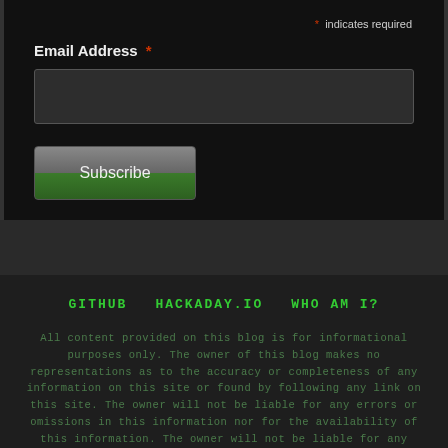* indicates required
Email Address *
Subscribe
GITHUB   HACKADAY.IO   WHO AM I?
All content provided on this blog is for informational purposes only. The owner of this blog makes no representations as to the accuracy or completeness of any information on this site or found by following any link on this site. The owner will not be liable for any errors or omissions in this information nor for the availability of this information. The owner will not be liable for any losses, injuries, or damages from the display or use of this information. Please contact us should you have any questions. This policy is subject to change at anytime.